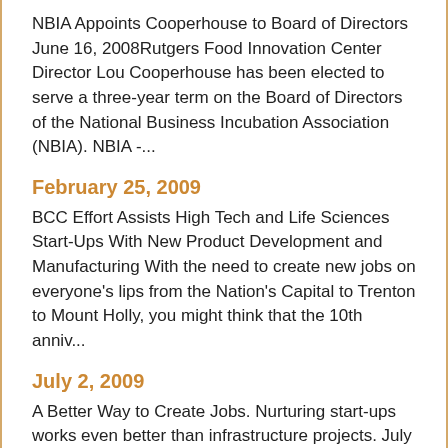NBIA Appoints Cooperhouse to Board of Directors June 16, 2008Rutgers Food Innovation Center Director Lou Cooperhouse has been elected to serve a three-year term on the Board of Directors of the National Business Incubation Association (NBIA). NBIA -...
February 25, 2009
BCC Effort Assists High Tech and Life Sciences Start-Ups With New Product Development and Manufacturing With the need to create new jobs on everyone's lips from the Nation's Capital to Trenton to Mount Holly, you might think that the 10th anniv...
July 2, 2009
A Better Way to Create Jobs. Nurturing start-ups works even better than infrastructure projects. July 2, 2009 The Food Innovation Center, a business